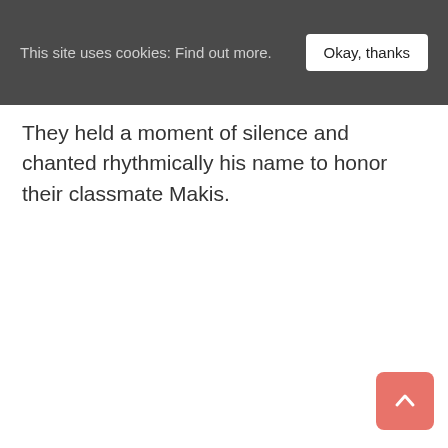This site uses cookies: Find out more. Okay, thanks
They held a moment of silence and chanted rhythmically his name to honor their classmate Makis.